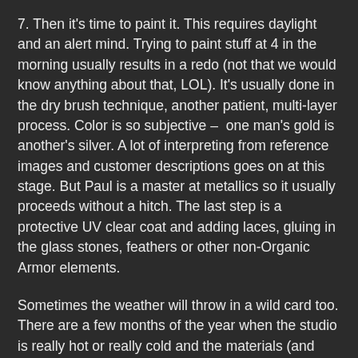7. Then it's time to paint it. This requires daylight and an alert mind. Trying to paint stuff at 4 in the morning usually results in a redo (not that we would know anything about that, LOL). It's usually done in the dry brush technique, another patient, multi-layer process. Color is so subjective –  one man's gold is another's silver. A lot of interpreting from reference images and customer descriptions goes on at this stage. But Paul is a master at metallics so it usually proceeds without a hitch. The last step is a protective UV clear coat and adding laces, gluing in the glass stones, feathers or other non-Organic Armor elements.
Sometimes the weather will throw in a wild card too. There are a few months of the year when the studio is really hot or really cold and the materials (and artist) get difficult.
So you can see there is a lot to a custom job. Because every job is different it's been hard to figure out what to charge. When we make inventory many of these steps are skipped or have been streamlined.  I keep raising the custom prices and